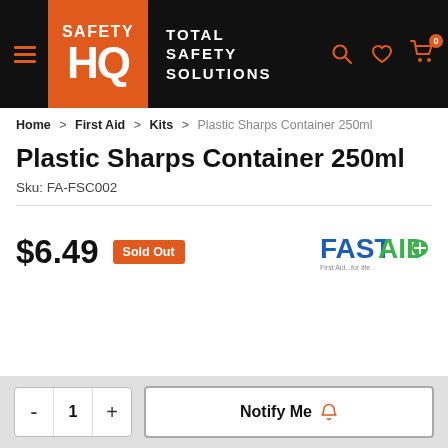Safety HQ – Total Safety Solutions
Home > First Aid > Kits > Plastic Sharps Container 250ml
Plastic Sharps Container 250ml
Sku: FA-FSC002
$6.49  Sold Out
[Figure (logo): FastAid logo – blue and green text reading FASTAIDO with tagline 'First Aid...for life']
- 1 +   Notify Me (bell icon)